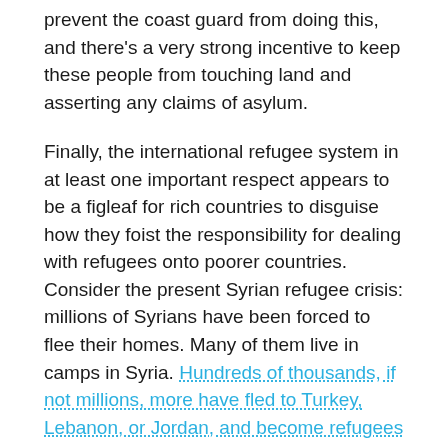prevent the coast guard from doing this, and there's a very strong incentive to keep these people from touching land and asserting any claims of asylum.
Finally, the international refugee system in at least one important respect appears to be a figleaf for rich countries to disguise how they foist the responsibility for dealing with refugees onto poorer countries. Consider the present Syrian refugee crisis: millions of Syrians have been forced to flee their homes. Many of them live in camps in Syria. Hundreds of thousands, if not millions, more have fled to Turkey, Lebanon, or Jordan, and become refugees there.
Under refugee law, these people are now trapped in the country they've initially claimed asylum in. The governments of Turkey, Lebanon, and Jordan aren't trying to gas them to death like Bashar Assad is, nor are they